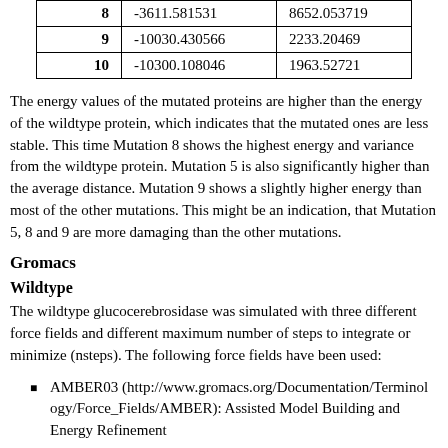|  |  |  |
| --- | --- | --- |
| 8 | -3611.581531 | 8652.053719 |
| 9 | -10030.430566 | 2233.20469 |
| 10 | -10300.108046 | 1963.52721 |
The energy values of the mutated proteins are higher than the energy of the wildtype protein, which indicates that the mutated ones are less stable. This time Mutation 8 shows the highest energy and variance from the wildtype protein. Mutation 5 is also significantly higher than the average distance. Mutation 9 shows a slightly higher energy than most of the other mutations. This might be an indication, that Mutation 5, 8 and 9 are more damaging than the other mutations.
Gromacs
Wildtype
The wildtype glucocerebrosidase was simulated with three different force fields and different maximum number of steps to integrate or minimize (nsteps). The following force fields have been used:
AMBER03 (http://www.gromacs.org/Documentation/Terminology/Force_Fields/AMBER): Assisted Model Building and Energy Refinement